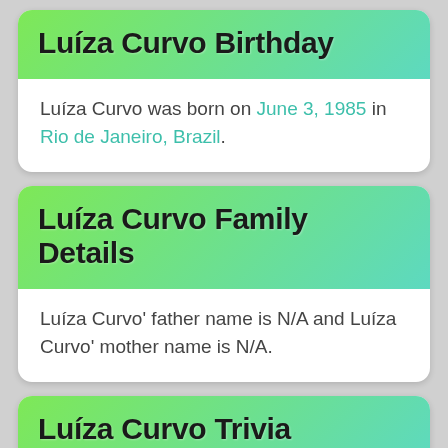Luíza Curvo Birthday
Luíza Curvo was born on June 3, 1985 in Rio de Janeiro, Brazil.
Luíza Curvo Family Details
Luíza Curvo' father name is N/A and Luíza Curvo' mother name is N/A.
Luíza Curvo Trivia